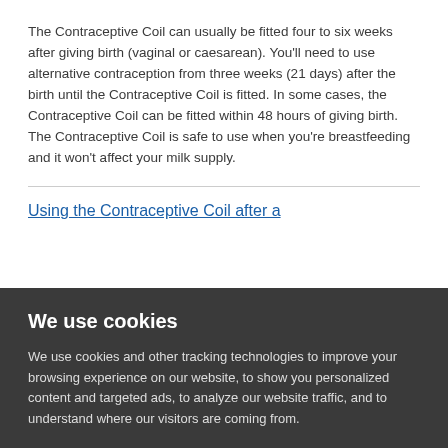The Contraceptive Coil can usually be fitted four to six weeks after giving birth (vaginal or caesarean). You'll need to use alternative contraception from three weeks (21 days) after the birth until the Contraceptive Coil is fitted. In some cases, the Contraceptive Coil can be fitted within 48 hours of giving birth. The Contraceptive Coil is safe to use when you're breastfeeding and it won't affect your milk supply.
Using the Contraceptive Coil after a
We use cookies
We use cookies and other tracking technologies to improve your browsing experience on our website, to show you personalized content and targeted ads, to analyze our website traffic, and to understand where our visitors are coming from.